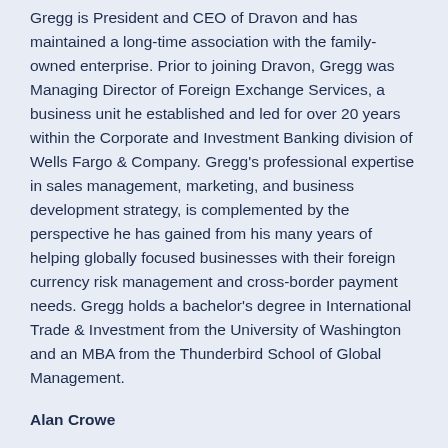Gregg is President and CEO of Dravon and has maintained a long-time association with the family-owned enterprise. Prior to joining Dravon, Gregg was Managing Director of Foreign Exchange Services, a business unit he established and led for over 20 years within the Corporate and Investment Banking division of Wells Fargo & Company. Gregg's professional expertise in sales management, marketing, and business development strategy, is complemented by the perspective he has gained from his many years of helping globally focused businesses with their foreign currency risk management and cross-border payment needs. Gregg holds a bachelor's degree in International Trade & Investment from the University of Washington and an MBA from the Thunderbird School of Global Management.
Alan Crowe